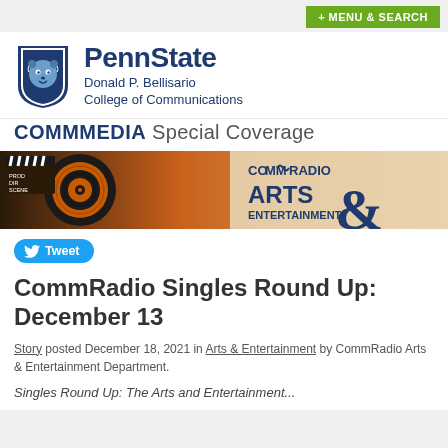+ MENU & SEARCH
[Figure (logo): Penn State shield logo with lion, beside PennState Donald P. Bellisario College of Communications text]
COMMMEDIA Special Coverage
[Figure (screenshot): CommRadio Arts & Entertainment banner with vinyl record and film clapper board]
Tweet
CommRadio Singles Round Up: December 13
Story posted December 18, 2021 in Arts & Entertainment by CommRadio Arts & Entertainment Department.
Singles Round Up: The Arts and Entertainment...